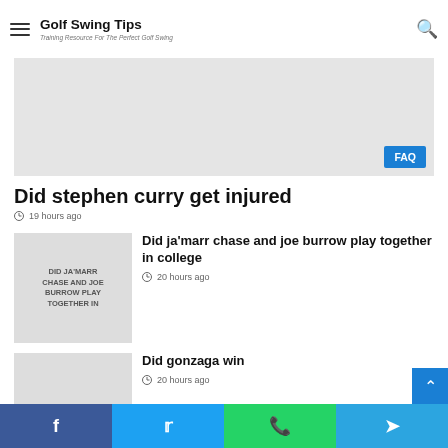Golf Swing Tips — Training Resource For The Perfect Golf Swing
[Figure (screenshot): Gray advertisement banner with FAQ button]
Did stephen curry get injured
19 hours ago
[Figure (illustration): Thumbnail image with text: DID JA'MARR CHASE AND JOE BURROW PLAY TOGETHER IN]
Did ja'marr chase and joe burrow play together in college
20 hours ago
[Figure (illustration): Thumbnail image with text: DID GONZAGA WIN]
Did gonzaga win
20 hours ago
[Figure (illustration): Partial thumbnail image for fsu article]
Did fsu make the ncaa tournament
Social share bar: Facebook, Twitter, WhatsApp, Telegram